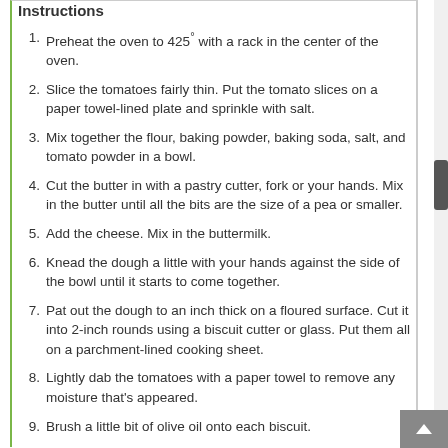Instructions
Preheat the oven to 425° with a rack in the center of the oven.
Slice the tomatoes fairly thin. Put the tomato slices on a paper towel-lined plate and sprinkle with salt.
Mix together the flour, baking powder, baking soda, salt, and tomato powder in a bowl.
Cut the butter in with a pastry cutter, fork or your hands. Mix in the butter until all the bits are the size of a pea or smaller.
Add the cheese. Mix in the buttermilk.
Knead the dough a little with your hands against the side of the bowl until it starts to come together.
Pat out the dough to an inch thick on a floured surface. Cut it into 2-inch rounds using a biscuit cutter or glass. Put them all on a parchment-lined cooking sheet.
Lightly dab the tomatoes with a paper towel to remove any moisture that's appeared.
Brush a little bit of olive oil onto each biscuit.
Put a tomato slice on each biscuit and lightly brush the tomato and top of the biscuit with olive oil. Sprinkle with